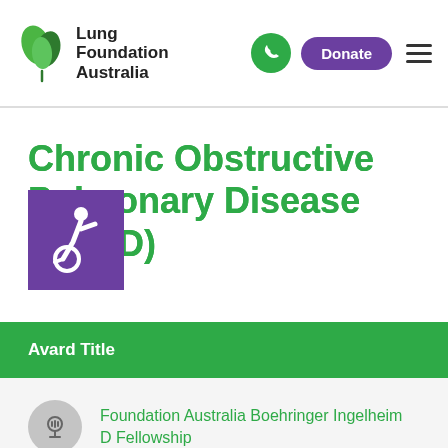[Figure (logo): Lung Foundation Australia logo with green leaf and text]
Chronic Obstructive Pulmonary Disease (COPD)
[Figure (illustration): Purple square with wheelchair accessibility icon]
| Avard Title |
| --- |
| Lung Foundation Australia Boehringer Ingelheim COPD Fellowship |
[Figure (illustration): Grey circular microphone/voice button icon]